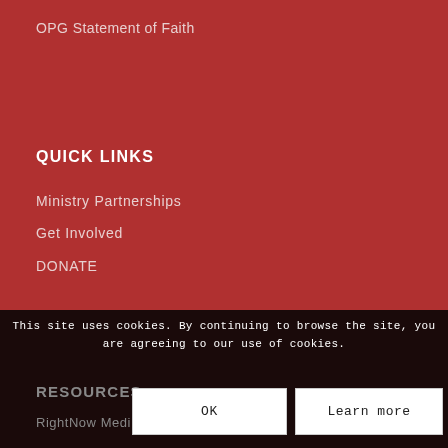OPG Statement of Faith
QUICK LINKS
Ministry Partnerships
Get Involved
DONATE
This site uses cookies. By continuing to browse the site, you are agreeing to our use of cookies.
RESOURCES
RightNow Medi...
OK
Learn more